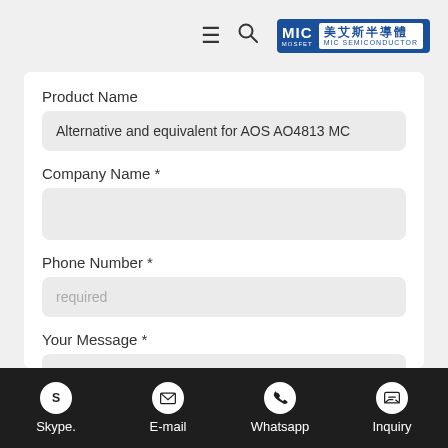MIC MOSFET 美艾斯半導體 MIC SEMICONDUCTOR
Product Name
Alternative and equivalent for AOS AO4813 MC
Company Name *
Phone Number *
required
Your Message *
required
Skype.   E-mail   Whatsapp   Inquiry